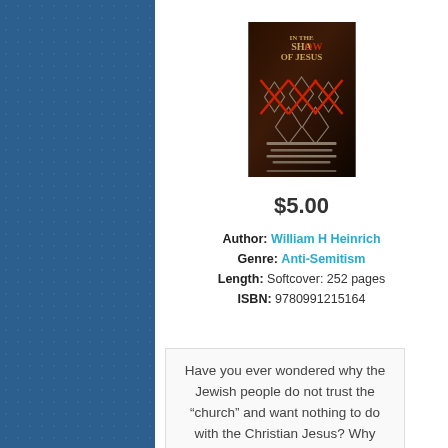[Figure (photo): Book cover of 'In the Shadow of Jesus' by William H Heinrich — dark cover with red X marks and star of David shapes]
$5.00
Author: William H Heinrich
Genre: Anti-Semitism
Length: Softcover: 252 pages
ISBN: 9780991215164
Have you ever wondered why the Jewish people do not trust the “church” and want nothing to do with the Christian Jesus? Why have Jewish people received such bad